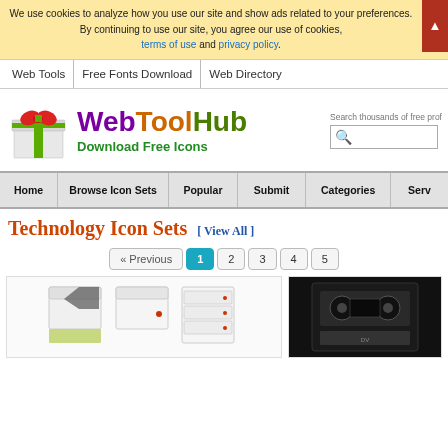We use cookies to analyze how you use our site and show ads related to your preferences. By continuing to use our site, you agree our use of cookies, terms of use and privacy policy.
Web Tools | Free Fonts Download | Web Directory
[Figure (logo): WebToolHub logo with gift box icon and text 'WebToolHub Download Free Icons']
Home | Browse Icon Sets | Popular | Submit | Categories | Serv...
Technology Icon Sets [View All]
[Figure (other): Pagination controls: Previous, 1 (active), 2, 3, 4, 5]
[Figure (photo): Technology icon set preview showing white box/drive icons]
[Figure (photo): Technology icon set preview showing dark cassette/tape icon]